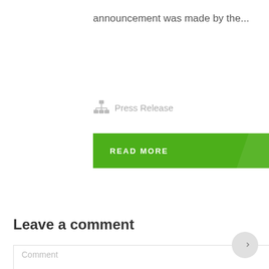announcement was made by the...
Press Release
READ MORE →
Leave a comment
Comment